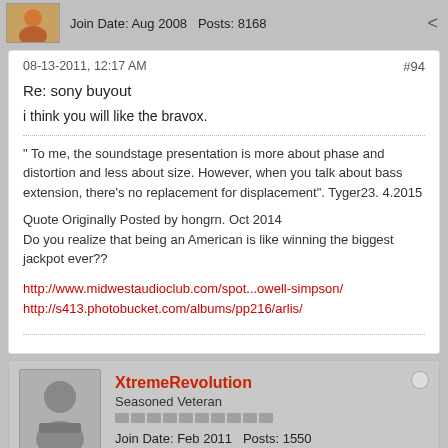Join Date: Aug 2008   Posts: 8168
08-13-2011, 12:17 AM
#94
Re: sony buyout
i think you will like the bravox.
" To me, the soundstage presentation is more about phase and distortion and less about size. However, when you talk about bass extension, there's no replacement for displacement". Tyger23. 4.2015
Quote Originally Posted by hongrn. Oct 2014
Do you realize that being an American is like winning the biggest jackpot ever??
http://www.midwestaudioclub.com/spot...owell-simpson/
http://s413.photobucket.com/albums/pp216/arlis/
XtremeRevolution
Seasoned Veteran
Join Date: Feb 2011   Posts: 1550